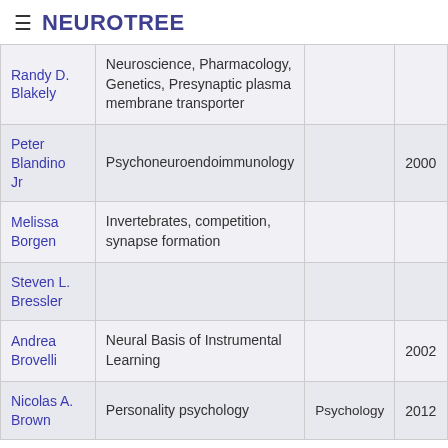≡ NEUROTREE
| Name | Area | Department | Year |
| --- | --- | --- | --- |
| Randy D. Blakely | Neuroscience, Pharmacology, Genetics, Presynaptic plasma membrane transporter |  |  |
| Peter Blandino Jr | Psychoneuroendoimmunology |  | 2000 |
| Melissa Borgen | Invertebrates, competition, synapse formation |  |  |
| Steven L. Bressler |  |  |  |
| Andrea Brovelli | Neural Basis of Instrumental Learning |  | 2002 |
| Nicolas A. Brown | Personality psychology | Psychology | 2012 |